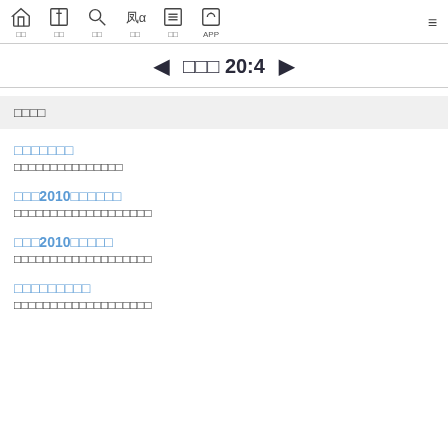Navigation bar with home, bible, search, reference, list, APP icons
◀ □□□ 20:4 ▶
□□□□ (filter bar label)
□□□□□□□
□□□□□□□□□□□□□□□
□□□2010□□□□□□
□□□□□□□□□□□□□□□□□□□
□□□2010□□□□□
□□□□□□□□□□□□□□□□□□□
□□□□□□□□□
□□□□□□□□□□□□□□□□□□□